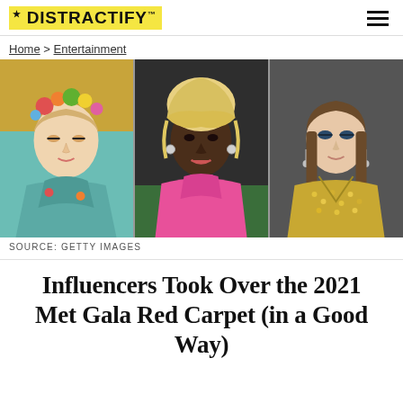DISTRACTIFY
Home > Entertainment
[Figure (photo): Three side-by-side red carpet photos: left shows a woman in a teal floral gown with a flower crown, center shows a Black woman in a pink dress with blonde updo, right shows a woman in a gold sequined dress with brown hair.]
SOURCE: GETTY IMAGES
Influencers Took Over the 2021 Met Gala Red Carpet (in a Good Way)